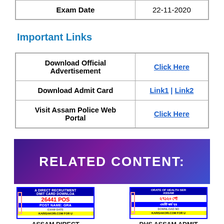| Exam Date | 22-11-2020 |
| --- | --- |
Important Links
|  |  |
| --- | --- |
| Download Official Advertisement | Click Here |
| Download Admit Card | Link1 | Link2 |
| Visit Assam Police Web Portal | Click Here |
[Figure (infographic): RELATED CONTENT: banner with purple/blue gradient background and white bold text]
[Figure (screenshot): Assam Direct Recruitment Admit Card Download thumbnail showing 26441 POS, KARISAKORI.COM]
ASSAM DIRECT
[Figure (screenshot): DHS Assam Admit Card Download thumbnail showing Bengali text, KARISAKORI.COM]
DHS ASSAM ADMIT